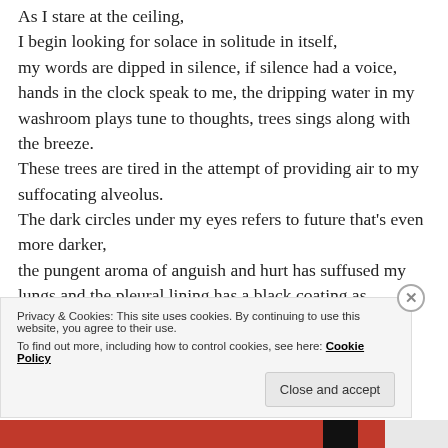As I stare at the ceiling,
I begin looking for solace in solitude in itself,
my words are dipped in silence, if silence had a voice,
hands in the clock speak to me, the dripping water in my washroom plays tune to thoughts, trees sings along with the breeze.
These trees are tired in the attempt of providing air to my suffocating alveolus.
The dark circles under my eyes refers to future that's even more darker,
the pungent aroma of anguish and hurt has suffused my lungs and the pleural lining has a black coating as
Privacy & Cookies: This site uses cookies. By continuing to use this website, you agree to their use.
To find out more, including how to control cookies, see here: Cookie Policy
Close and accept